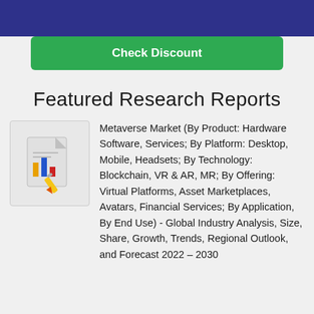[Figure (other): Green button labeled 'Check Discount']
Featured Research Reports
[Figure (illustration): Report/document icon with bar chart and pencil]
Metaverse Market (By Product: Hardware Software, Services; By Platform: Desktop, Mobile, Headsets; By Technology: Blockchain, VR & AR, MR; By Offering: Virtual Platforms, Asset Marketplaces, Avatars, Financial Services; By Application, By End Use) - Global Industry Analysis, Size, Share, Growth, Trends, Regional Outlook, and Forecast 2022 – 2030